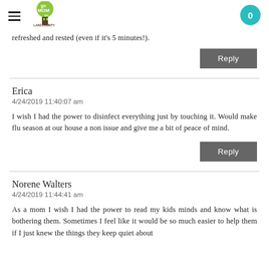Go Mom Go - Lake County | 0
refreshed and rested (even if it's 5 minutes!).
Reply
Erica
4/24/2019 11:40:07 am
I wish I had the power to disinfect everything just by touching it. Would make flu season at our house a non issue and give me a bit of peace of mind.
Reply
Norene Walters
4/24/2019 11:44:41 am
As a mom I wish I had the power to read my kids minds and know what is bothering them. Sometimes I feel like it would be so much easier to help them if I just knew the things they keep quiet about